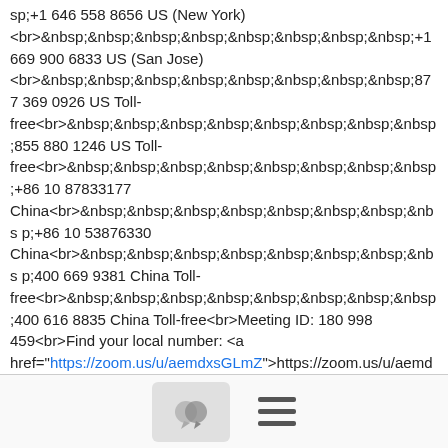sp;+1 646 558 8656 US (New York) <br>&nbsp;&nbsp;&nbsp;&nbsp;&nbsp;&nbsp;&nbsp;&nbsp;+1 669 900 6833 US (San Jose) <br>&nbsp;&nbsp;&nbsp;&nbsp;&nbsp;&nbsp;&nbsp;&nbsp;877 369 0926 US Toll-free<br>&nbsp;&nbsp;&nbsp;&nbsp;&nbsp;&nbsp;&nbsp;&nbsp;855 880 1246 US Toll-free<br>&nbsp;&nbsp;&nbsp;&nbsp;&nbsp;&nbsp;&nbsp;&nbsp;+86 10 87833177 China<br>&nbsp;&nbsp;&nbsp;&nbsp;&nbsp;&nbsp;&nbsp;&nbsp;+86 10 53876330 China<br>&nbsp;&nbsp;&nbsp;&nbsp;&nbsp;&nbsp;&nbsp;&nbsp;400 669 9381 China Toll-free<br>&nbsp;&nbsp;&nbsp;&nbsp;&nbsp;&nbsp;&nbsp;&nbsp;400 616 8835 China Toll-free<br>Meeting ID: 180 998 459<br>Find your local number: <a href="https://zoom.us/u/aemdxsGLmZ">https://zoom.us/u/aemdxsGLmZ</a>
[Figure (other): Footer bar with a chat bubble icon button and a hamburger menu icon]